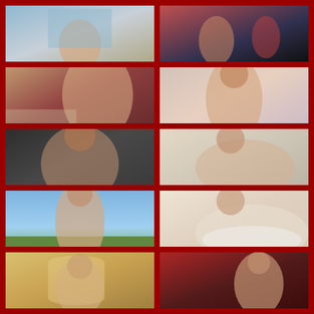[Figure (photo): Woman posing near window with city view]
[Figure (photo): Two people, one in red outfit on dark background]
[Figure (photo): Woman in lingerie posing in bedroom setting]
[Figure (photo): Woman with curly hair in pink dress]
[Figure (photo): Woman in black outfit posing on bed]
[Figure (photo): Woman in black dress lying on couch with tattoo]
[Figure (photo): Woman with curly hair posing outdoors topless against blue sky]
[Figure (photo): Woman in white dress lying on bed]
[Figure (photo): Blonde woman near ornate gold mirror]
[Figure (photo): Dark-haired woman posing in red-toned setting]